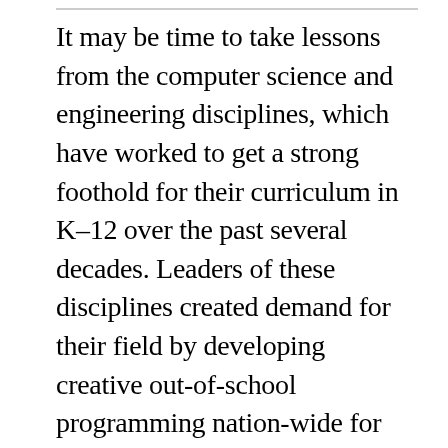It may be time to take lessons from the computer science and engineering disciplines, which have worked to get a strong foothold for their curriculum in K–12 over the past several decades. Leaders of these disciplines created demand for their field by developing creative out-of-school programming nation-wide for kids of all ages. Coding and robotics afterschool programs have proliferated across all demographics in the past decade with focused efforts by STEM experts who are encouraging girls and minorities to embrace these fields.  To make it easier to reach the kids, they partnered with existing out-of-school programs in Scouts, 4–H, libraries, and other organizations. And their efforts are giving